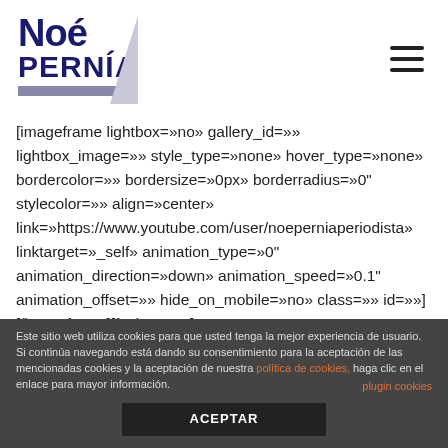[Figure (logo): Noé Pernía logo with bold dark navy text and grey slash accent and grey bar]
[imageframe lightbox=»no» gallery_id=»» lightbox_image=»» style_type=»none» hover_type=»none» bordercolor=»» bordersize=»0px» borderradius=»0" stylecolor=»» align=»center» link=»https://www.youtube.com/user/noeperniaperiodista» linktarget=»_self» animation_type=»0" animation_direction=»down» animation_speed=»0.1" animation_offset=»» hide_on_mobile=»no» class=»» id=»»] [/imageframe][fusion_text]
Este sitio web utiliza cookies para que usted tenga la mejor experiencia de usuario. Si continúa navegando está dando su consentimiento para la aceptación de las mencionadas cookies y la aceptación de nuestra política de cookies, haga clic en el enlace para mayor información.
plugin cookies
ACEPTAR